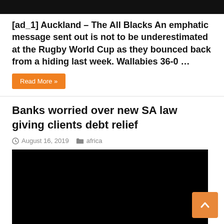[Figure (photo): Dark/black image at top of page, partial view]
[ad_1] Auckland – The All Blacks An emphatic message sent out is not to be underestimated at the Rugby World Cup as they bounced back from a hiding last week. Wallabies 36-0 …
Read More »
Banks worried over new SA law giving clients debt relief
August 16, 2019   africa
[Figure (photo): Large black image, article thumbnail]